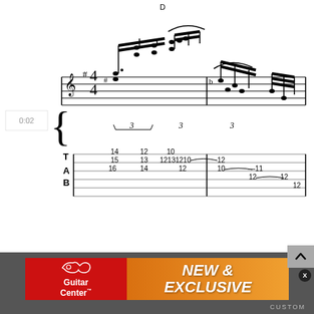[Figure (other): Guitar tablature and musical notation showing measure 1. Key of D, 4/4 time. Tab numbers: T: 14, 15 / 12, 13 / 10, 12 13 12 10 12 / 10, 10-11. A: 16 / 14 / 12 / 10-11, 12. B: 12, 12. Triplet markings (3) under groups of notes. Timestamp 0:02 on left.]
[Figure (other): Guitar tablature and musical notation showing measure 2. Contains vibrato marking, ties/slurs, half notes. Tab numbers: T/A: 10/9, 11/10, (11)/(10). Wavy tremolo marking visible.]
[Figure (other): Guitar Center advertisement banner. Red section with Guitar Center logo on left, orange gradient section with bold italic white text NEW & EXCLUSIVE on right.]